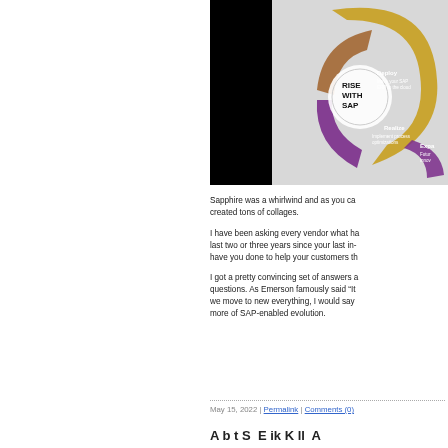[Figure (photo): A photo showing a 'Rise with SAP' circular infographic diagram with sections labeled Deploy, Realize, and Expand, with arrows in gold and purple colors, partially cropped. Left portion is a black rectangle (redacted area).]
Sapphire was a whirlwind and as you ca... created tons of collages.
I have been asking every vendor what ha... last two or three years since your last in-... have you done to help your customers th...
I got a pretty convincing set of answers a... questions. As Emerson famously said “It’... we move to new everything, I would say ... more of SAP-enabled evolution.
May 15, 2022 | Permalink | Comments (0)
A b t S E ik K ll A